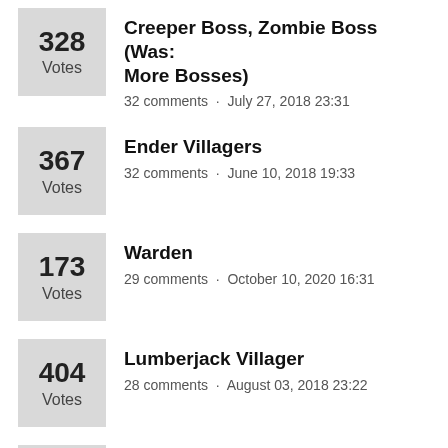328 Votes · Creeper Boss, Zombie Boss (Was: More Bosses) · 32 comments · July 27, 2018 23:31
367 Votes · Ender Villagers · 32 comments · June 10, 2018 19:33
173 Votes · Warden · 29 comments · October 10, 2020 16:31
404 Votes · Lumberjack Villager · 28 comments · August 03, 2018 23:22
Intelligent/Player-like NPCs (partially visible)